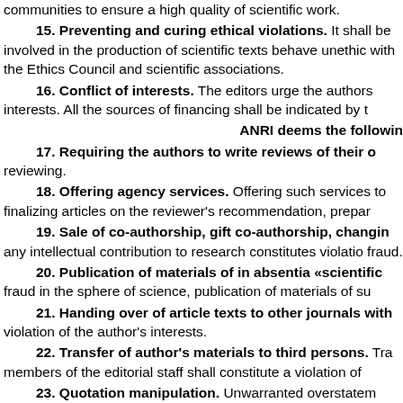communities to ensure a high quality of scientific work.
15. Preventing and curing ethical violations. It shall be involved in the production of scientific texts behave unethically with the Ethics Council and scientific associations.
16. Conflict of interests. The editors urge the authors interests. All the sources of financing shall be indicated by t
ANRI deems the following
17. Requiring the authors to write reviews of their o reviewing.
18. Offering agency services. Offering such services to finalizing articles on the reviewer's recommendation, prepar
19. Sale of co-authorship, gift co-authorship, changing any intellectual contribution to research constitutes violatio fraud.
20. Publication of materials of in absentia «scientific fraud in the sphere of science, publication of materials of su
21. Handing over of article texts to other journals with violation of the author's interests.
22. Transfer of author's materials to third persons. Tr members of the editorial staff shall constitute a violation of
23. Quotation manipulation. Unwarranted overstatem mislead readers and are interpreted as fraud.
24. Plagiarism, falsification, and fabrications. The e